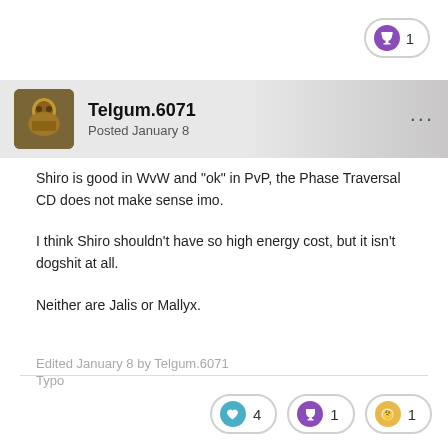[Figure (other): Trophy badge pill showing count of 1 in top-right corner]
Telgum.6071
Posted January 8
Shiro is good in WvW and "ok" in PvP, the Phase Traversal CD does not make sense imo.
I think Shiro shouldn't have so high energy cost, but it isn't dogshit at all.
Neither are Jalis or Mallyx.
Edited January 8 by Telgum.6071
Typo
[Figure (other): Reaction counts: heart icon with 4, trophy icon with 1, thinking emoji with 1]